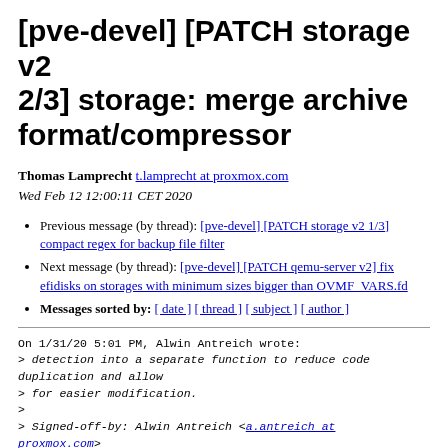[pve-devel] [PATCH storage v2 2/3] storage: merge archive format/compressor
Thomas Lamprecht t.lamprecht at proxmox.com
Wed Feb 12 12:00:11 CET 2020
Previous message (by thread): [pve-devel] [PATCH storage v2 1/3] compact regex for backup file filter
Next message (by thread): [pve-devel] [PATCH qemu-server v2] fix efidisks on storages with minimum sizes bigger than OVMF_VARS.fd
Messages sorted by: [ date ] [ thread ] [ subject ] [ author ]
On 1/31/20 5:01 PM, Alwin Antreich wrote:
> detection into a separate function to reduce code duplication and allow
> for easier modification.
>
> Signed-off-by: Alwin Antreich <a.antreich at proxmox.com>
> ...